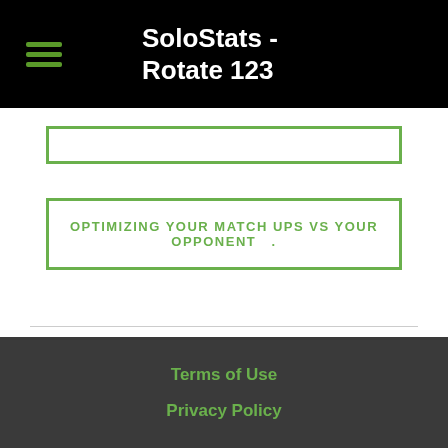SoloStats - Rotate 123
[Figure (other): Empty green-bordered rectangular box at top of content area]
OPTIMIZING YOUR MATCH UPS VS YOUR OPPONENT .
Terms of Use   Privacy Policy